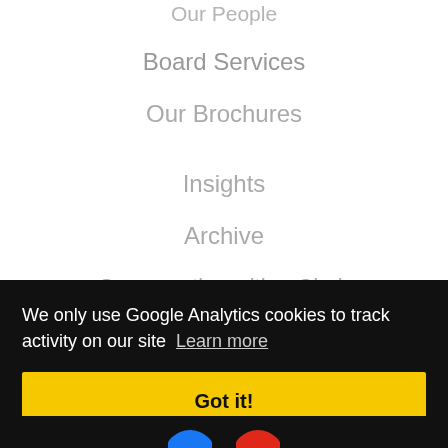Our People
Board Services
Our Brochures
Insights
Archive
Conversation with a Chair
We only use Google Analytics cookies to track activity on our site  Learn more
Got it!
[Figure (other): Social media icon circles (blue and red) partially visible at bottom]